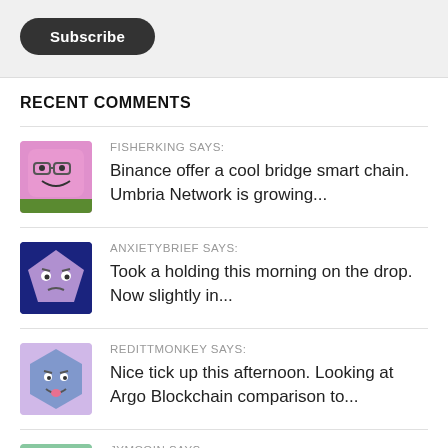[Figure (screenshot): Subscribe button (dark rounded pill button)]
RECENT COMMENTS
[Figure (illustration): Avatar of FISHERKING: pink square cartoon character with glasses]
FISHERKING SAYS:
Binance offer a cool bridge smart chain. Umbria Network is growing...
[Figure (illustration): Avatar of ANXIETYBRIEF: purple pentagon cartoon character on dark blue background]
ANXIETYBRIEF SAYS:
Took a holding this morning on the drop. Now slightly in...
[Figure (illustration): Avatar of REDITTMONKEY: blue hexagon cartoon character]
REDITTMONKEY SAYS:
Nice tick up this afternoon. Looking at Argo Blockchain comparison to...
[Figure (illustration): Avatar of JYMCOIN: purple triangle cartoon character on green background]
JYMCOIN SAYS:
Small market cap. Plenty of cash as well + a